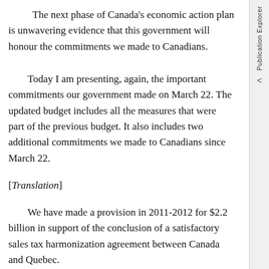The next phase of Canada's economic action plan is unwavering evidence that this government will honour the commitments we made to Canadians.
Today I am presenting, again, the important commitments our government made on March 22. The updated budget includes all the measures that were part of the previous budget. It also includes two additional commitments we made to Canadians since March 22.
[Translation]
We have made a provision in 2011-2012 for $2.2 billion in support of the conclusion of a satisfactory sales tax harmonization agreement between Canada and Quebec.